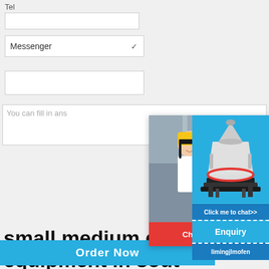Tel
Messenger
You can fill in a...ns
[Figure (screenshot): Live Chat popup overlay showing workers in yellow hard hats, LIVE CHAT heading in red, 'Click for a Free Consultation' text, Chat now and Chat later buttons]
[Figure (screenshot): Side widget showing a cone crusher machine image, 'Click me to chat>>' button, 'Enquiry' button, 'limingjlmofen' button]
Order Now
small medium gold equipment in sout